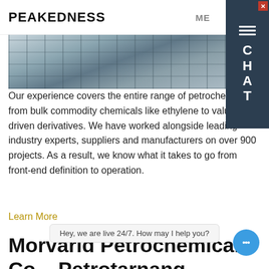PEAKEDNESS   ME
[Figure (photo): Industrial/petrochemical facility photo showing storage tanks, scaffolding, containers and equipment]
Our experience covers the entire range of petrochemicals: from bulk commodity chemicals like ethylene to value driven derivatives. We have worked alongside leading industry experts, suppliers and manufacturers on over 900 projects. As a result, we know what it takes to go from front-end definition to operation.
Learn More
Morvarid Petrochemical Co – Petrotarnang